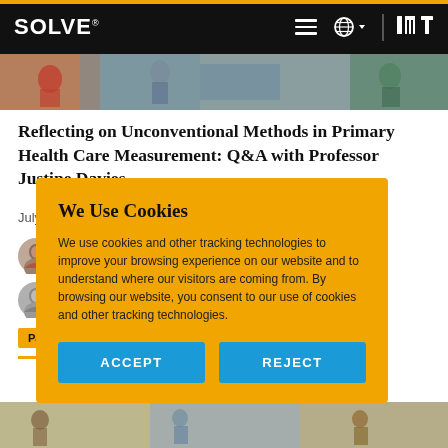SOLVE® [MIT logo]
[Figure (photo): Hero image strip showing people in an outdoor setting]
Reflecting on Unconventional Methods in Primary Health Care Measurement: Q&A with Professor Justine Davies
July 29, 2022
[Figure (photo): Author avatar 1 - woman with dark hair]
[Figure (photo): Author avatar 2 - woman with grey hair]
Par
We Use Cookies

We use cookies and other tracking technologies to improve your browsing experience on our website and to understand where our visitors are coming from. By browsing our website, you consent to our use of cookies and other tracking technologies.

ACCEPT   REJECT
[Figure (photo): Bottom image strip showing group of people]